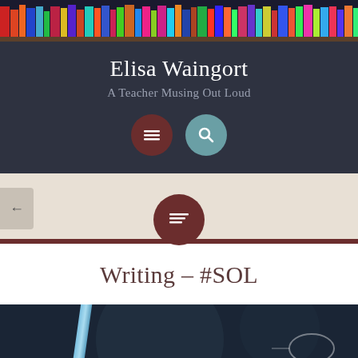[Figure (photo): Decorative bookshelf photo banner at top of page]
Elisa Waingort
A Teacher Musing Out Loud
[Figure (other): Navigation icons: hamburger menu (dark red circle) and search magnifier (teal circle)]
[Figure (other): Category bar with back arrow, dark red horizontal line, and centered dark red circle with list/lines icon]
Writing – #SOL
[Figure (photo): Partial photo showing a blue pen and glasses on a dark background]